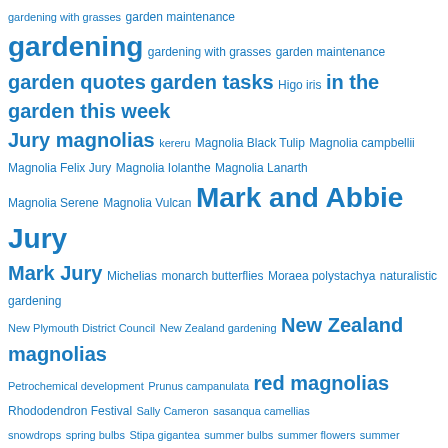[Figure (infographic): Tag cloud with gardening and New Zealand garden/magnolia related terms in varying font sizes, all in blue. Larger terms include: gardening, garden quotes, garden tasks, in the garden this week, Jury magnolias, Mark and Abbie Jury, Mark Jury, New Zealand magnolias, red magnolias, Taranaki gardens, The plant collector this week, Tikorangi. Smaller terms include: gardening with grasses, garden maintenance, Higo iris, kereru, Magnolia Black Tulip, Magnolia campbellii, Magnolia Felix Jury, Magnolia Iolanthe, Magnolia Lanarth, Magnolia Serene, Magnolia Vulcan, Michelias, monarch butterflies, Moraea polystachya, naturalistic gardening, New Plymouth District Council, New Zealand gardening, Petrochemical development, Prunus campanulata, Rhododendron Festival, Sally Cameron, sasanqua camellias, snowdrops, spring bulbs, Stipa gigantea, summer bulbs, summer flowers, summer gardens, sustainable gardening, Taranaki garden festival, Taranaki Rhododendron and Garden Festival, Tikorangi.]